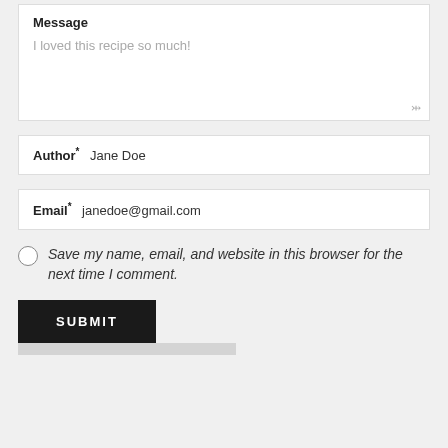Message
I loved this recipe so much!
Author* Jane Doe
Email* janedoe@gmail.com
Save my name, email, and website in this browser for the next time I comment.
SUBMIT